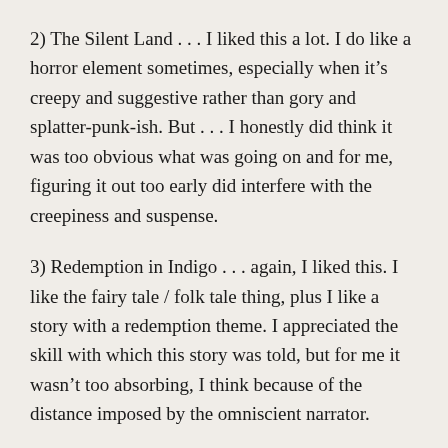2) The Silent Land . . . I liked this a lot. I do like a horror element sometimes, especially when it's creepy and suggestive rather than gory and splatter-punk-ish. But . . . I honestly did think it was too obvious what was going on and for me, figuring it out too early did interfere with the creepiness and suspense.
3) Redemption in Indigo . . . again, I liked this. I like the fairy tale / folk tale thing, plus I like a story with a redemption theme. I appreciated the skill with which this story was told, but for me it wasn't too absorbing, I think because of the distance imposed by the omniscient narrator.
4) Under Heaven . . . I loved this! I loved the language, the style, the beautiful evocative Chinese setting, the characters — especially the female characters. Wonderful book! But I